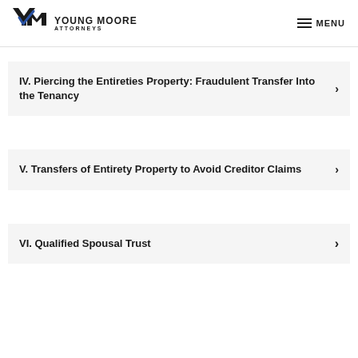YOUNG MOORE ATTORNEYS | MENU
IV. Piercing the Entireties Property: Fraudulent Transfer Into the Tenancy
V. Transfers of Entirety Property to Avoid Creditor Claims
VI. Qualified Spousal Trust